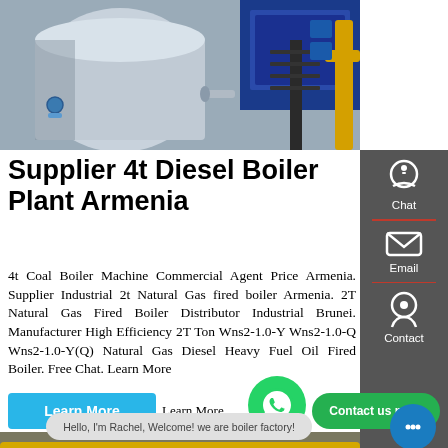[Figure (photo): Industrial boiler plant equipment - large cylindrical boiler with blue machinery and yellow pipes in a factory setting]
Supplier 4t Diesel Boiler Plant Armenia
4t Coal Boiler Machine Commercial Agent Price Armenia. Supplier Industrial 2t Natural Gas fired boiler Armenia. 2T Natural Gas Fired Boiler Distributor Industrial Brunei. Manufacturer High Efficiency 2T Ton Wns2-1.0-Y Wns2-1.0-Q Wns2-1.0-Y(Q) Natural Gas Diesel Heavy Fuel Oil Fired Boiler. Free Chat. Learn More
[Figure (other): Learn More button (blue), WhatsApp icon button (green), Contact us now button (green)]
[Figure (photo): Industrial boiler room with yellow pipes and cylindrical boiler tanks]
Hello, I'm Rachel, Welcome! we are boiler factory!